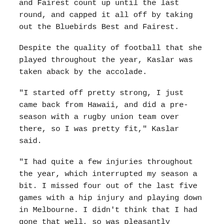Coolangatta-Tweed, led the QWAFL Best and Fairest count up until the last round, and capped it all off by taking out the Bluebirds Best and Fairest.
Despite the quality of football that she played throughout the year, Kaslar was taken aback by the accolade.
"I started off pretty strong, I just came back from Hawaii, and did a pre-season with a rugby union team over there, so I was pretty fit," Kaslar said.
"I had quite a few injuries throughout the year, which interrupted my season a bit. I missed four out of the last five games with a hip injury and playing down in Melbourne. I didn't think that I had gone that well, so was pleasantly surprised during the vote count."
If you are looking for a gauge on just how well Kaslar played throughout 2015, look no further than the